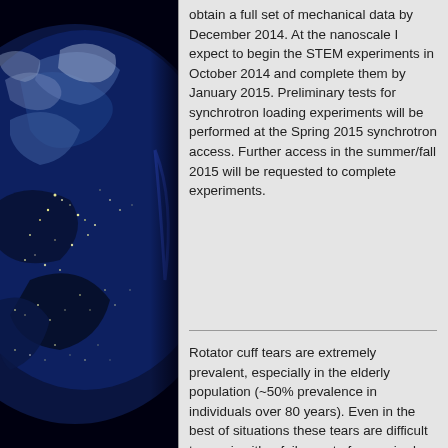[Figure (photo): Satellite photo of Earth at night showing city lights on a dark background, view of North America and surrounding regions]
obtain a full set of mechanical data by December 2014. At the nanoscale I expect to begin the STEM experiments in October 2014 and complete them by January 2015. Preliminary tests for synchrotron loading experiments will be performed at the Spring 2015 synchrotron access. Further access in the summer/fall 2015 will be requested to complete experiments.
Rotator cuff tears are extremely prevalent, especially in the elderly population (~50% prevalence in individuals over 80 years). Even in the best of situations these tears are difficult to repair with a failure rate for repaired rotator cuffs